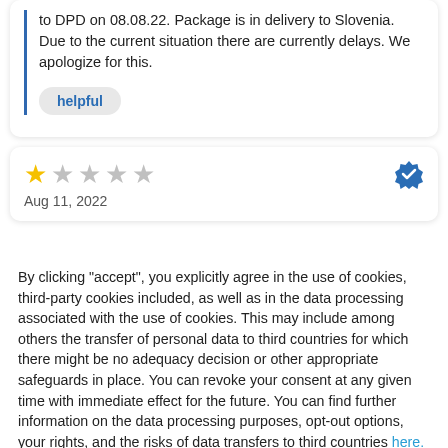to DPD on 08.08.22. Package is in delivery to Slovenia. Due to the current situation there are currently delays. We apologize for this.
helpful
★☆☆☆☆ Aug 11, 2022
By clicking "accept", you explicitly agree in the use of cookies, third-party cookies included, as well as in the data processing associated with the use of cookies. This may include among others the transfer of personal data to third countries for which there might be no adequacy decision or other appropriate safeguards in place. You can revoke your consent at any given time with immediate effect for the future. You can find further information on the data processing purposes, opt-out options, your rights, and the risks of data transfers to third countries here.
ACCEPT